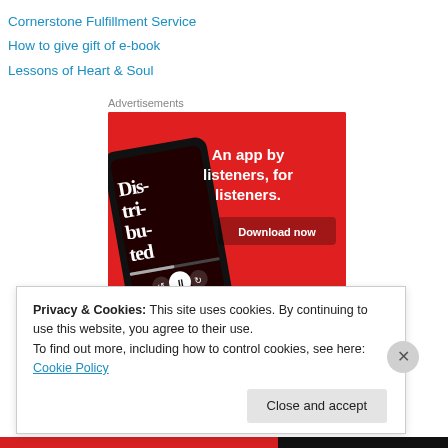Cornerstone Fulfillment Service
How to give gift of e-book
Lessons of Heart & Soul
Advertisements
[Figure (photo): Advertisement banner with red background showing a podcast app on a smartphone. Text reads 'An app by listeners, for listeners.' with a 'Download now' button. Phone screen shows 'Dis-tri-bu-ted' podcast artwork.]
Privacy & Cookies: This site uses cookies. By continuing to use this website, you agree to their use.
To find out more, including how to control cookies, see here: Cookie Policy
Close and accept